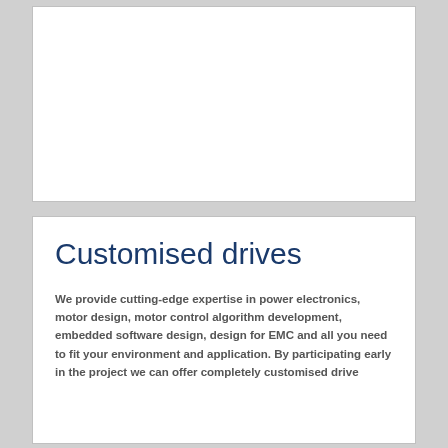[Figure (other): White rectangular box, empty image placeholder area in the upper portion of the page]
Customised drives
We provide cutting-edge expertise in power electronics, motor design, motor control algorithm development, embedded software design, design for EMC and all you need to fit your environment and application. By participating early in the project we can offer completely customised drive